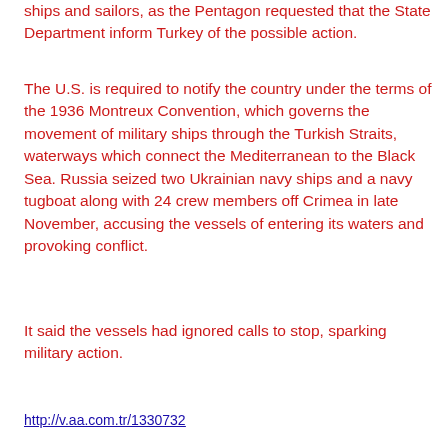ships and sailors, as the Pentagon requested that the State Department inform Turkey of the possible action.
The U.S. is required to notify the country under the terms of the 1936 Montreux Convention, which governs the movement of military ships through the Turkish Straits, waterways which connect the Mediterranean to the Black Sea. Russia seized two Ukrainian navy ships and a navy tugboat along with 24 crew members off Crimea in late November, accusing the vessels of entering its waters and provoking conflict.
It said the vessels had ignored calls to stop, sparking military action.
http://v.aa.com.tr/1330732